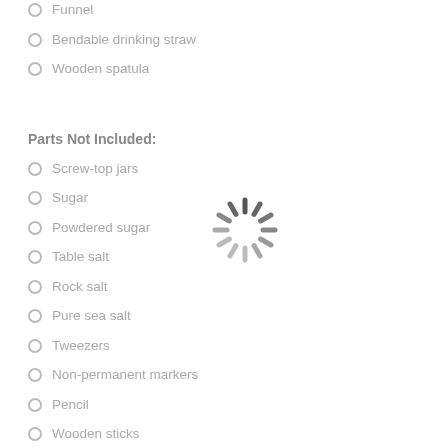Funnel
Bendable drinking straw
Wooden spatula
Parts Not Included:
Screw-top jars
Sugar
Powdered sugar
Table salt
Rock salt
Pure sea salt
Tweezers
Non-permanent markers
Pencil
Wooden sticks
[Figure (other): Loading spinner graphic overlaid on the page]